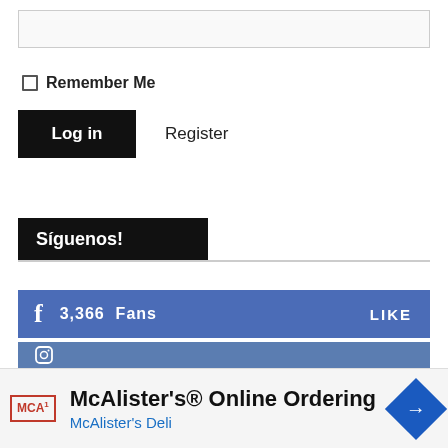[Figure (screenshot): Password input field (empty text box)]
Remember Me
Log in
Register
Síguenos!
3,366  Fans  LIKE
[Figure (screenshot): Instagram/social media bar (partial)]
This site uses functional cookies and external scripts to improve your experience
McAlister's® Online Ordering  McAlister's Deli